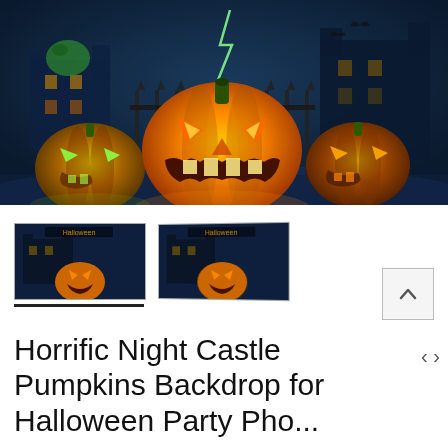[Figure (photo): Halloween backdrop showing three glowing jack-o-lanterns (carved pumpkins) in front of a dark spooky night castle scene with iron gate, bats, and misty blue-purple background]
[Figure (photo): Thumbnail 1: Small preview of Halloween night castle backdrop with pumpkins, landscape orientation]
[Figure (photo): Thumbnail 2: Small preview of Halloween night castle backdrop with pumpkins, landscape orientation, slightly angled]
Horrific Night Castle Pumpkins Backdrop for Halloween Party Photography